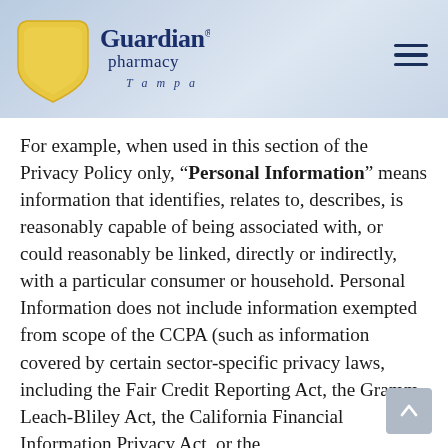[Figure (logo): Guardian Pharmacy Tampa logo — shield shape in gold/yellow with 'Guardian pharmacy Tampa' text in navy blue]
For example, when used in this section of the Privacy Policy only, “Personal Information” means information that identifies, relates to, describes, is reasonably capable of being associated with, or could reasonably be linked, directly or indirectly, with a particular consumer or household. Personal Information does not include information exempted from scope of the CCPA (such as information covered by certain sector-specific privacy laws, including the Fair Credit Reporting Act, the Gramm-Leach-Bliley Act, the California Financial Information Privacy Act, or the